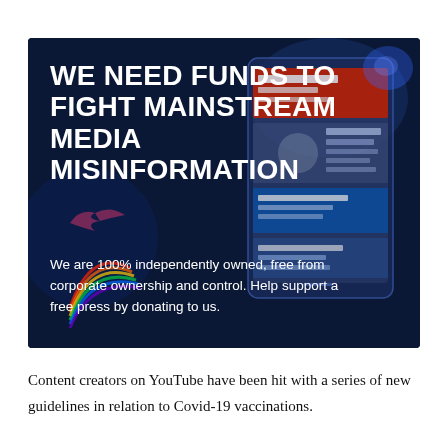[Figure (infographic): Dark blue banner image with white bold text reading 'WE NEED FUNDS TO FIGHT MAINSTREAM MEDIA MISINFORMATION' and smaller text below reading 'We are 100% independently owned, free from corporate ownership and control. Help support a free press by donating to us.' with a decorative phone/tablet mockup showing news headlines on the right side.]
Content creators on YouTube have been hit with a series of new guidelines in relation to Covid-19 vaccinations.